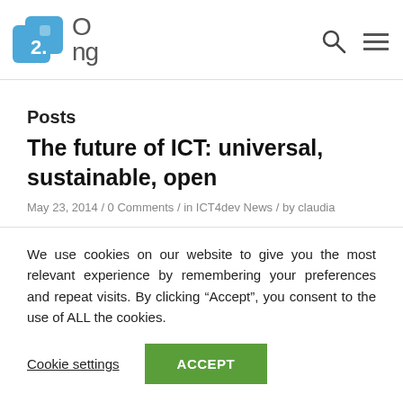[Figure (logo): 2.0 ONG website logo with blue puzzle piece icons and text '2. O ng']
Posts
The future of ICT: universal, sustainable, open
May 23, 2014 / 0 Comments / in ICT4dev News / by claudia
We use cookies on our website to give you the most relevant experience by remembering your preferences and repeat visits. By clicking “Accept”, you consent to the use of ALL the cookies.
Cookie settings | ACCEPT